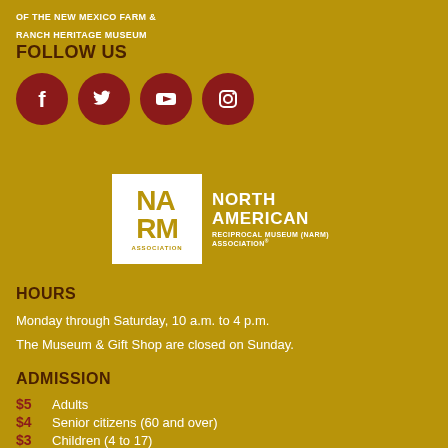OF THE NEW MEXICO FARM & RANCH HERITAGE MUSEUM
FOLLOW US
[Figure (infographic): Social media icons: Facebook, Twitter, YouTube, Instagram in dark red circles]
[Figure (logo): North American Reciprocal Museum (NARM) Association logo with white box containing NA RM and text to the right]
HOURS
Monday through Saturday, 10 a.m. to 4 p.m.
The Museum & Gift Shop are closed on Sunday.
ADMISSION
$5  Adults
$4  Senior citizens (60 and over)
$3  Children (4 to 17)